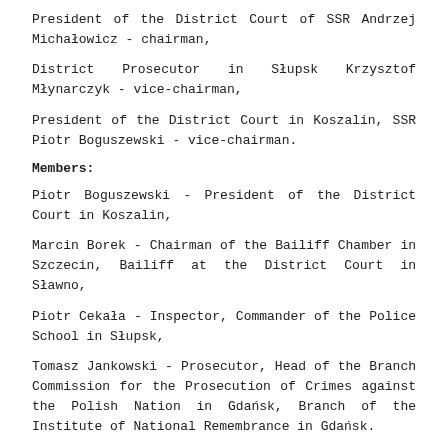President of the District Court of SSR Andrzej Michałowicz - chairman,
District Prosecutor in Słupsk Krzysztof Młynarczyk - vice-chairman,
President of the District Court in Koszalin, SSR Piotr Boguszewski - vice-chairman.
Members:
Piotr Boguszewski - President of the District Court in Koszalin,
Marcin Borek - Chairman of the Bailiff Chamber in Szczecin, Bailiff at the District Court in Sławno,
Piotr Cekała - Inspector, Commander of the Police School in Słupsk,
Tomasz Jankowski - Prosecutor, Head of the Branch Commission for the Prosecution of Crimes against the Polish Nation in Gdańsk, Branch of the Institute of National Remembrance in Gdańsk.
Tomasz Kopoczyński - Attorney at law, Tomasz Kopoczyński Law